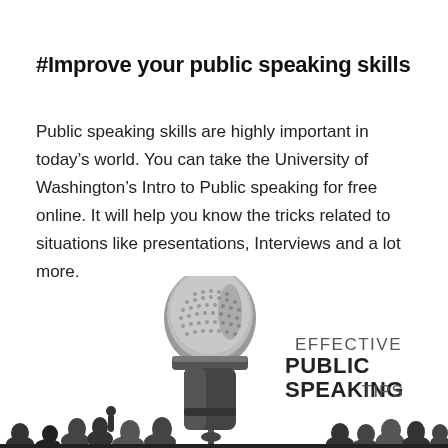#Improve your public speaking skills
Public speaking skills are highly important in today’s world. You can take the University of Washington’s Intro to Public speaking for free online. It will help you know the tricks related to situations like presentations, Interviews and a lot more.
[Figure (illustration): Illustration of a microphone in the foreground with silhouettes of an audience below, alongside the text 'EFFECTIVE PUBLIC SPEAKING TIPS']